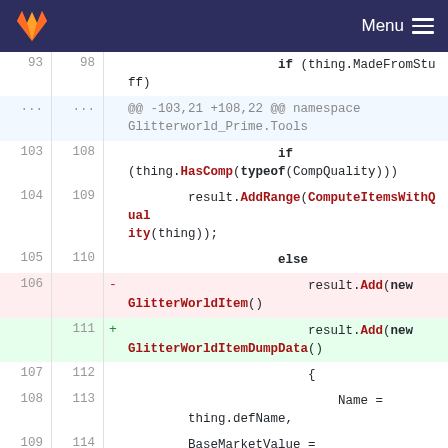GitLab — Menu
[Figure (screenshot): Code diff view showing changes to C# code involving GlitterWorldItem and GlitterWorldItemDumpData classes in namespace Glitterworld_Prime.Tools]